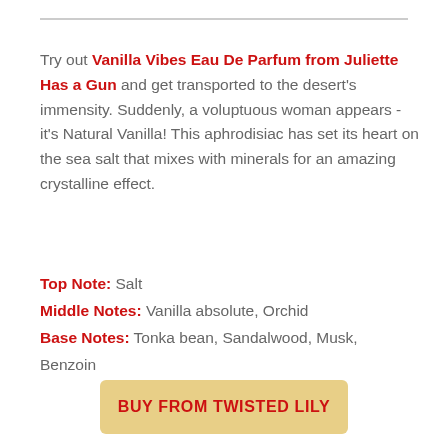Try out Vanilla Vibes Eau De Parfum from Juliette Has a Gun and get transported to the desert's immensity. Suddenly, a voluptuous woman appears - it's Natural Vanilla! This aphrodisiac has set its heart on the sea salt that mixes with minerals for an amazing crystalline effect.
Top Note: Salt
Middle Notes: Vanilla absolute, Orchid
Base Notes: Tonka bean, Sandalwood, Musk, Benzoin
BUY FROM TWISTED LILY